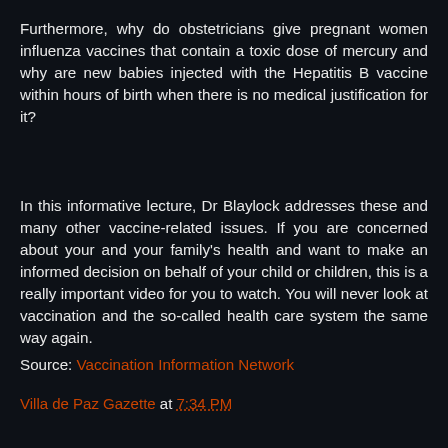Furthermore, why do obstetricians give pregnant women influenza vaccines that contain a toxic dose of mercury and why are new babies injected with the Hepatitis B vaccine within hours of birth when there is no medical justification for it?
In this informative lecture, Dr Blaylock addresses these and many other vaccine-related issues. If you are concerned about your and your family's health and want to make an informed decision on behalf of your child or children, this is a really important video for you to watch. You will never look at vaccination and the so-called health care system the same way again.
Source: Vaccination Information Network
Villa de Paz Gazette at 7:34 PM